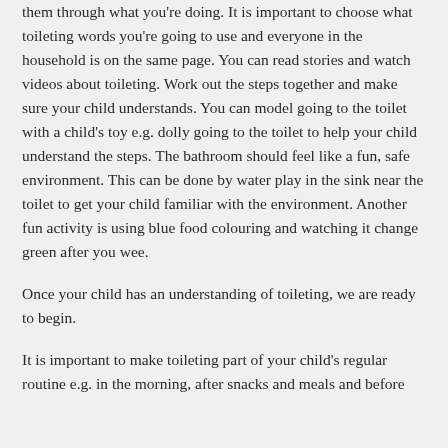them through what you're doing. It is important to choose what toileting words you're going to use and everyone in the household is on the same page. You can read stories and watch videos about toileting. Work out the steps together and make sure your child understands. You can model going to the toilet with a child's toy e.g. dolly going to the toilet to help your child understand the steps. The bathroom should feel like a fun, safe environment. This can be done by water play in the sink near the toilet to get your child familiar with the environment. Another fun activity is using blue food colouring and watching it change green after you wee.
Once your child has an understanding of toileting, we are ready to begin.
It is important to make toileting part of your child's regular routine e.g. in the morning, after snacks and meals and before